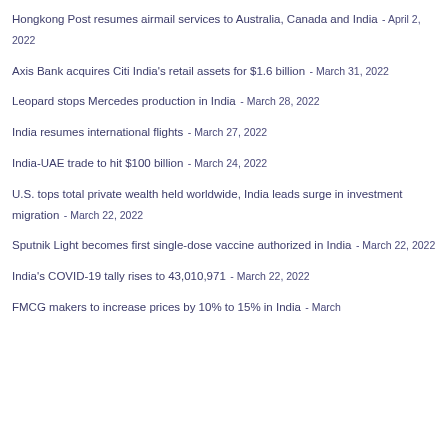Hongkong Post resumes airmail services to Australia, Canada and India - April 2, 2022
Axis Bank acquires Citi India's retail assets for $1.6 billion - March 31, 2022
Leopard stops Mercedes production in India - March 28, 2022
India resumes international flights - March 27, 2022
India-UAE trade to hit $100 billion - March 24, 2022
U.S. tops total private wealth held worldwide, India leads surge in investment migration - March 22, 2022
Sputnik Light becomes first single-dose vaccine authorized in India - March 22, 2022
India's COVID-19 tally rises to 43,010,971 - March 22, 2022
FMCG makers to increase prices by 10% to 15% in India - March